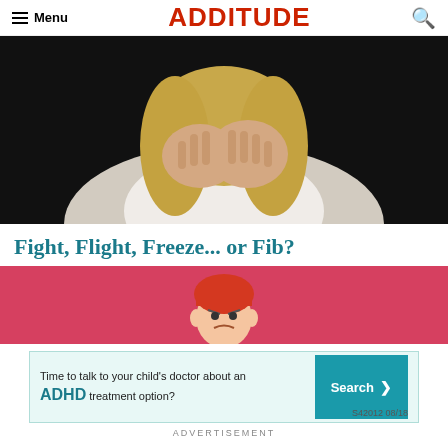Menu | ADDITUDE
[Figure (photo): Child with blonde hair covering face with both hands, wearing white shirt, against dark background]
Fight, Flight, Freeze... or Fib?
[Figure (illustration): Red background banner with illustrated angry red-haired boy character]
[Figure (other): Advertisement banner: Time to talk to your child's doctor about an ADHD treatment option? Search button. S42012 08/18]
ADVERTISEMENT